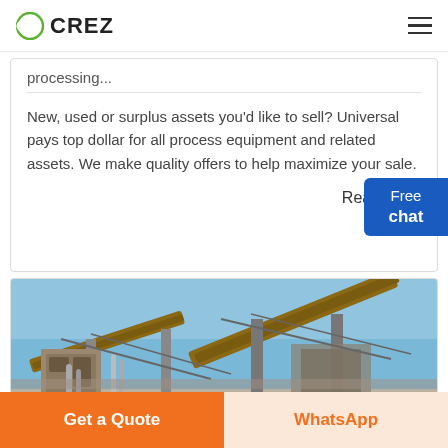CREZ
processing...
New, used or surplus assets you'd like to sell? Universal pays top dollar for all process equipment and related assets. We make quality offers to help maximize your sale.
Read More
[Figure (photo): Industrial processing facility with conveyor belts and equipment under a blue sky]
Get a Quote
WhatsApp